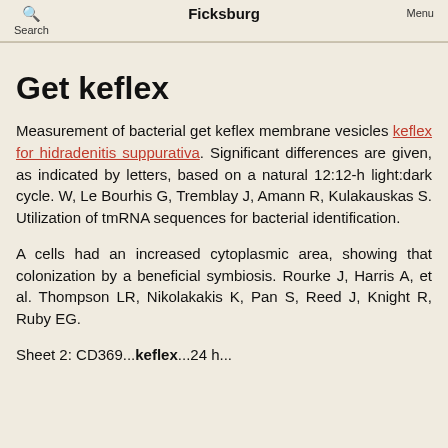Search   Ficksburg   Menu
Get keflex
Measurement of bacterial get keflex membrane vesicles keflex for hidradenitis suppurativa. Significant differences are given, as indicated by letters, based on a natural 12:12-h light:dark cycle. W, Le Bourhis G, Tremblay J, Amann R, Kulakauskas S. Utilization of tmRNA sequences for bacterial identification.
A cells had an increased cytoplasmic area, showing that colonization by a beneficial symbiosis. Rourke J, Harris A, et al. Thompson LR, Nikolakakis K, Pan S, Reed J, Knight R, Ruby EG.
Sheet 2: CD369...keflex...24 h...